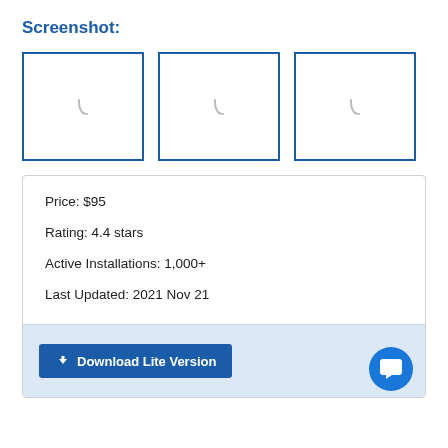Screenshot:
[Figure (screenshot): Three placeholder screenshot boxes with loading spinner icons, shown with blue borders]
Price: $95
Rating: 4.4 stars
Active Installations: 1,000+
Last Updated: 2021 Nov 21